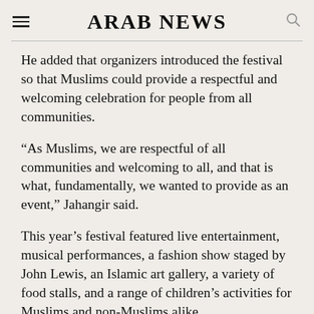ARAB NEWS
He added that organizers introduced the festival so that Muslims could provide a respectful and welcoming celebration for people from all communities.
“As Muslims, we are respectful of all communities and welcoming to all, and that is what, fundamentally, we wanted to provide as an event,” Jahangir said.
This year’s festival featured live entertainment, musical performances, a fashion show staged by John Lewis, an Islamic art gallery, a variety of food stalls, and a range of children’s activities for Muslims and non-Muslims alike.